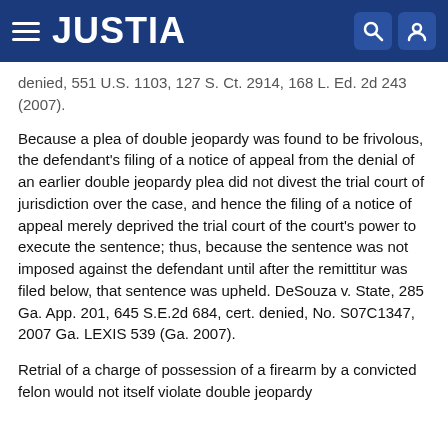JUSTIA
denied, 551 U.S. 1103, 127 S. Ct. 2914, 168 L. Ed. 2d 243 (2007).
Because a plea of double jeopardy was found to be frivolous, the defendant's filing of a notice of appeal from the denial of an earlier double jeopardy plea did not divest the trial court of jurisdiction over the case, and hence the filing of a notice of appeal merely deprived the trial court of the court's power to execute the sentence; thus, because the sentence was not imposed against the defendant until after the remittitur was filed below, that sentence was upheld. DeSouza v. State, 285 Ga. App. 201, 645 S.E.2d 684, cert. denied, No. S07C1347, 2007 Ga. LEXIS 539 (Ga. 2007).
Retrial of a charge of possession of a firearm by a convicted felon would not itself violate double jeopardy